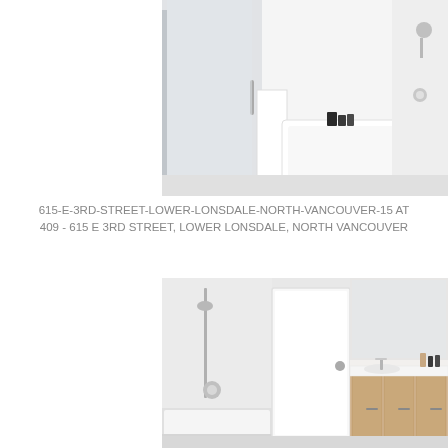[Figure (photo): Interior bathroom photo showing a glass shower enclosure on the left and a white soaker bathtub on the right with a small black toiletry bottle set on the ledge. Walls and surfaces are white with chrome fixtures.]
615-E-3RD-STREET-LOWER-LONSDALE-NORTH-VANCOUVER-15 AT 409 - 615 E 3RD STREET, LOWER LONSDALE, NORTH VANCOUVER
[Figure (photo): Interior bathroom photo showing a bathtub with a handheld shower on the left, a white door in the centre, and a light wood vanity with white countertop and mirror on the right. The room has light grey tile walls.]